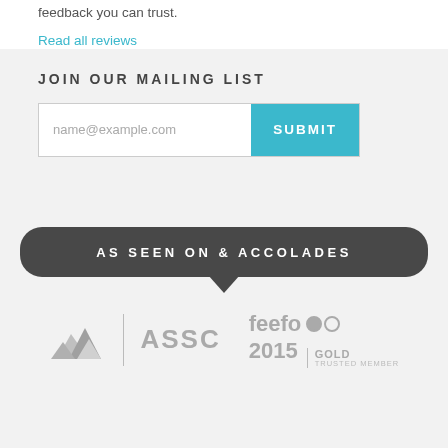feedback you can trust.
Read all reviews
JOIN OUR MAILING LIST
name@example.com
SUBMIT
AS SEEN ON & ACCOLADES
[Figure (logo): ASSC logo with mountain graphic and text]
[Figure (logo): Feefo 2015 Gold Trusted Member logo]